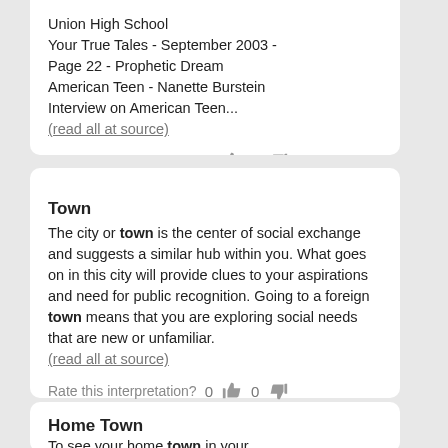Union High School
Your True Tales - September 2003 - Page 22 - Prophetic Dream
American Teen - Nanette Burstein
Interview on American Teen...
(read all at source)
Rate this interpretation? 0 [thumbs up] 0 [thumbs down]
Town
The city or town is the center of social exchange and suggests a similar hub within you. What goes on in this city will provide clues to your aspirations and need for public recognition. Going to a foreign town means that you are exploring social needs that are new or unfamiliar.
(read all at source)
Rate this interpretation? 0 [thumbs up] 0 [thumbs down]
Home Town
To see your home town in your